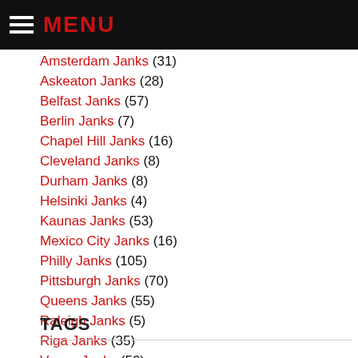MENU
Amsterdam Janks (31)
Askeaton Janks (28)
Belfast Janks (57)
Berlin Janks (7)
Chapel Hill Janks (16)
Cleveland Janks (8)
Durham Janks (8)
Helsinki Janks (4)
Kaunas Janks (53)
Mexico City Janks (16)
Philly Janks (105)
Pittsburgh Janks (70)
Queens Janks (55)
Raleigh Janks (5)
Riga Janks (35)
Vaasa Janks (50)
TAGS